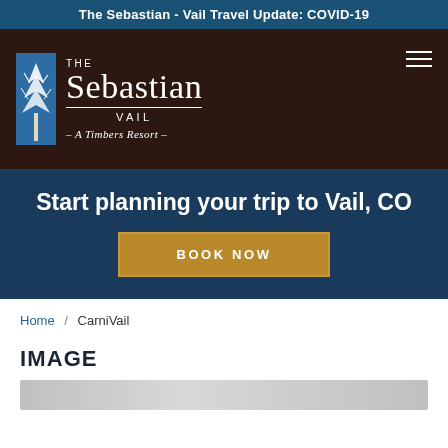The Sebastian - Vail Travel Update: COVID-19
[Figure (logo): The Sebastian Vail – A Timbers Resort logo with tree icon on blue background and white text on dark brown background, with hamburger menu icon]
Start planning your trip to Vail, CO
BOOK NOW
Home / CarniVail
IMAGE